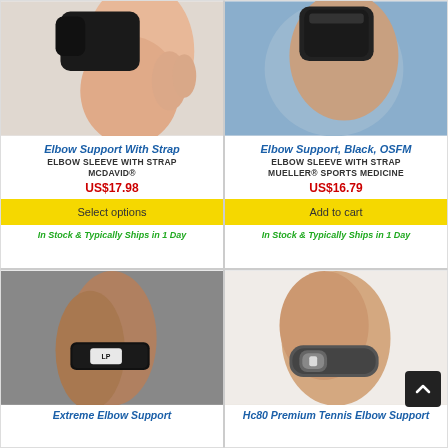[Figure (photo): Elbow support product with strap on arm, top portion visible, black brace on skin-toned arm]
Elbow Support With Strap
ELBOW SLEEVE WITH STRAP MCDAVID®
US$17.98
Select options
In Stock & Typically Ships in 1 Day
[Figure (photo): Elbow sleeve with strap on arm against blue background, black brace visible]
Elbow Support, Black, OSFM
ELBOW SLEEVE WITH STRAP MUELLER® SPORTS MEDICINE
US$16.79
Add to cart
In Stock & Typically Ships in 1 Day
[Figure (photo): Athletic arm with LP brand black elbow strap brace, person in athletic pose]
Extreme Elbow Support
[Figure (photo): Elbow with tennis elbow strap brace, gray and black design on arm]
Hc80 Premium Tennis Elbow Support